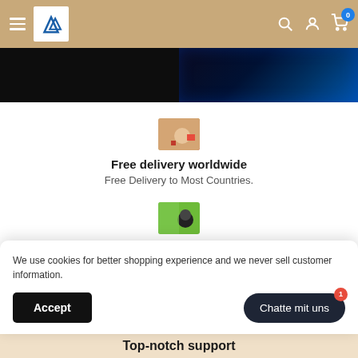Navigation bar with hamburger menu, logo, search, account, and cart (0) icons
[Figure (photo): Hero image strip: dark background on left, blue LED-lit scene on right]
[Figure (photo): Small thumbnail image of a person, warm tones - delivery icon]
Free delivery worldwide
Free Delivery to Most Countries.
[Figure (photo): Small thumbnail image of a person on green background - refund icon]
Satisfied or refunded
We use cookies for better shopping experience and we never sell customer information.
Accept
Chatte mit uns
Top-notch support